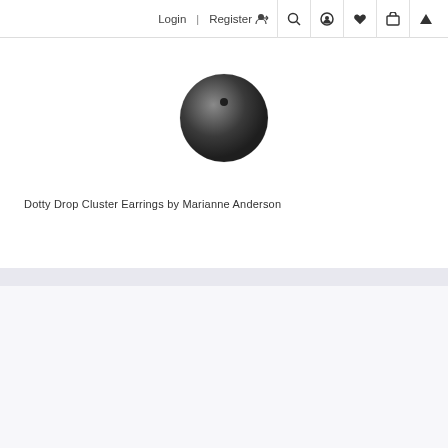Login | Register 🧑 🔍 👤 ♥ 🛍 ▲
Dotty Drop Cluster Earrings by Marianne Anderson
[Figure (photo): Dark charcoal/black circular earring product photo on white background]
Rings £650
[Figure (photo): Gold and silver ring with large white mabe pearl, product photo on light background]